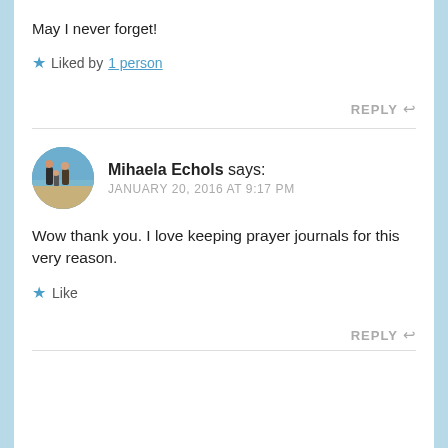May I never forget!
★ Liked by 1 person
REPLY ↩
Mihaela Echols says: JANUARY 20, 2016 AT 9:17 PM
Wow thank you. I love keeping prayer journals for this very reason.
★ Like
REPLY ↩